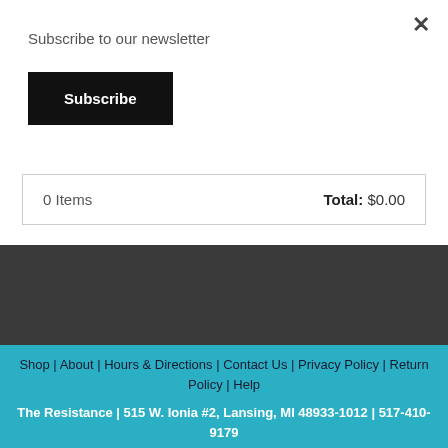Subscribe to our newsletter
Subscribe
| Items | Total |
| --- | --- |
| 0 Items | Total: $0.00 |
Shop | About | Hours & Directions | Contact Us | Privacy Policy | Return Policy | Help
The Resistance | 515 W. Ionia #2, Lansing, MI 48933-1012 | 517-410-9179